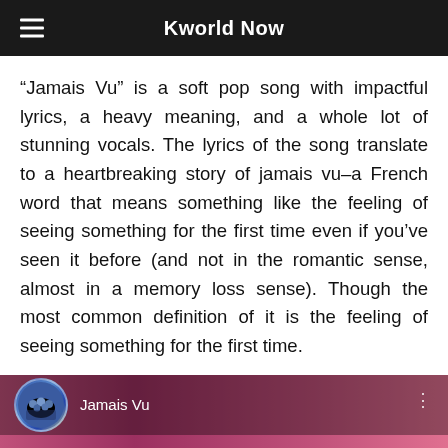Kworld Now
“Jamais Vu” is a soft pop song with impactful lyrics, a heavy meaning, and a whole lot of stunning vocals. The lyrics of the song translate to a heartbreaking story of jamais vu–a French word that means something like the feeling of seeing something for the first time even if you’ve seen it before (and not in the romantic sense, almost in a memory loss sense). Though the most common definition of it is the feeling of seeing something for the first time.
[Figure (screenshot): Music player interface showing 'Jamais Vu' track playing, with a group avatar photo, pink/rose gradient background, and large text 'OF THE SOUL PERS' overlaid. Bottom section shows split pink panels with a circular arc design.]